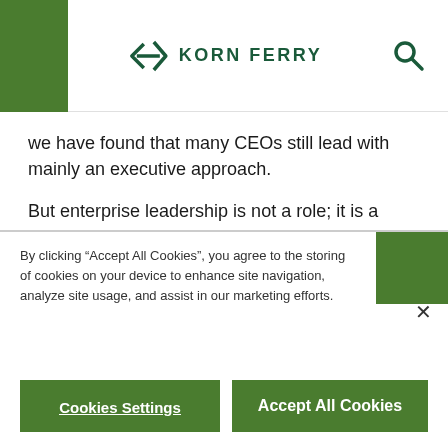Korn Ferry
we have found that many CEOs still lead with mainly an executive approach.
But enterprise leadership is not a role; it is a never-ending developmental progression. And there may be a no more challenging, critical, and strategic investment than accelerating the development
authentic lea... Welcome to Korn Ferry!
By clicking “Accept All Cookies”, you agree to the storing of cookies on your device to enhance site navigation, analyze site usage, and assist in our marketing efforts.
Cookies Settings
Accept All Cookies